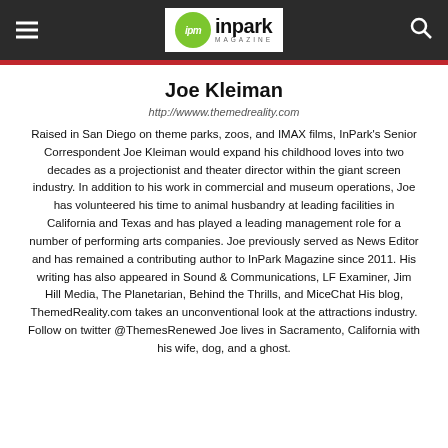ipm inpark MAGAZINE
Joe Kleiman
http://wwww.themedreality.com
Raised in San Diego on theme parks, zoos, and IMAX films, InPark's Senior Correspondent Joe Kleiman would expand his childhood loves into two decades as a projectionist and theater director within the giant screen industry. In addition to his work in commercial and museum operations, Joe has volunteered his time to animal husbandry at leading facilities in California and Texas and has played a leading management role for a number of performing arts companies. Joe previously served as News Editor and has remained a contributing author to InPark Magazine since 2011. His writing has also appeared in Sound & Communications, LF Examiner, Jim Hill Media, The Planetarian, Behind the Thrills, and MiceChat His blog, ThemedReality.com takes an unconventional look at the attractions industry. Follow on twitter @ThemesRenewed Joe lives in Sacramento, California with his wife, dog, and a ghost.